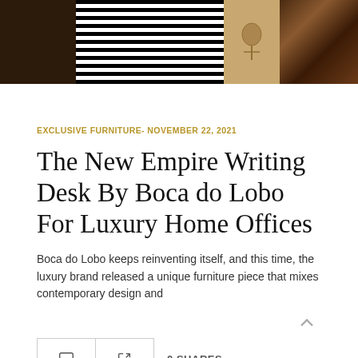[Figure (photo): Top banner image showing a striped black and white textile pattern in the center, dark brown/wooden elements on the left, a decorative face/artwork element, and brown marble or wood texture on the right.]
EXCLUSIVE FURNITURE- NOVEMBER 22, 2021
The New Empire Writing Desk By Boca do Lobo For Luxury Home Offices
Boca do Lobo keeps reinventing itself, and this time, the luxury brand released a unique furniture piece that mixes contemporary design and
0 SHARES